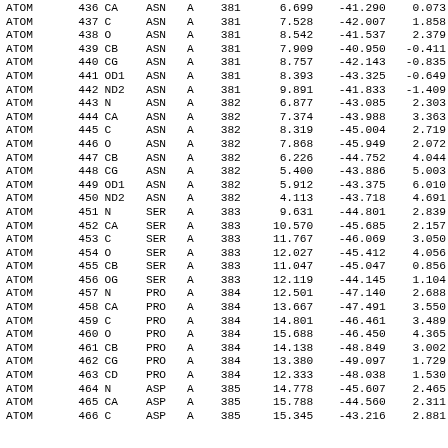| ATOM | num | atom | res | chain | resnum | x | y | z |
| --- | --- | --- | --- | --- | --- | --- | --- | --- |
| ATOM | 436 | CA | ASN | A | 381 | 6.699 | -41.290 | 0.073 |
| ATOM | 437 | C | ASN | A | 381 | 7.528 | -42.007 | 1.858 |
| ATOM | 438 | O | ASN | A | 381 | 8.542 | -41.537 | 2.379 |
| ATOM | 439 | CB | ASN | A | 381 | 7.909 | -40.950 | -0.411 |
| ATOM | 440 | CG | ASN | A | 381 | 8.757 | -42.143 | -0.835 |
| ATOM | 441 | OD1 | ASN | A | 381 | 8.393 | -43.325 | -0.649 |
| ATOM | 442 | ND2 | ASN | A | 381 | 9.891 | -41.833 | -1.409 |
| ATOM | 443 | N | ASN | A | 382 | 6.877 | -43.085 | 2.303 |
| ATOM | 444 | CA | ASN | A | 382 | 7.374 | -43.988 | 3.363 |
| ATOM | 445 | C | ASN | A | 382 | 8.319 | -45.004 | 2.719 |
| ATOM | 446 | O | ASN | A | 382 | 7.868 | -45.949 | 2.072 |
| ATOM | 447 | CB | ASN | A | 382 | 6.226 | -44.752 | 4.044 |
| ATOM | 448 | CG | ASN | A | 382 | 5.400 | -43.886 | 5.003 |
| ATOM | 449 | OD1 | ASN | A | 382 | 5.912 | -43.375 | 6.010 |
| ATOM | 450 | ND2 | ASN | A | 382 | 4.113 | -43.718 | 4.691 |
| ATOM | 451 | N | SER | A | 383 | 9.631 | -44.801 | 2.839 |
| ATOM | 452 | CA | SER | A | 383 | 10.570 | -45.685 | 2.157 |
| ATOM | 453 | C | SER | A | 383 | 11.767 | -46.069 | 3.050 |
| ATOM | 454 | O | SER | A | 383 | 12.027 | -45.412 | 4.056 |
| ATOM | 455 | CB | SER | A | 383 | 11.047 | -45.047 | 0.856 |
| ATOM | 456 | OG | SER | A | 383 | 12.119 | -44.145 | 1.104 |
| ATOM | 457 | N | PRO | A | 384 | 12.501 | -47.140 | 2.688 |
| ATOM | 458 | CA | PRO | A | 384 | 13.667 | -47.491 | 3.550 |
| ATOM | 459 | C | PRO | A | 384 | 14.801 | -46.461 | 3.489 |
| ATOM | 460 | O | PRO | A | 384 | 15.688 | -46.450 | 4.365 |
| ATOM | 461 | CB | PRO | A | 384 | 14.138 | -48.849 | 3.002 |
| ATOM | 462 | CG | PRO | A | 384 | 13.380 | -49.097 | 1.729 |
| ATOM | 463 | CD | PRO | A | 384 | 12.333 | -48.038 | 1.530 |
| ATOM | 464 | N | ASP | A | 385 | 14.778 | -45.607 | 2.465 |
| ATOM | 465 | CA | ASP | A | 385 | 15.788 | -44.560 | 2.311 |
| ATOM | 466 | C | ASP | A | 385 | 15.345 | -43.216 | 2.881 |